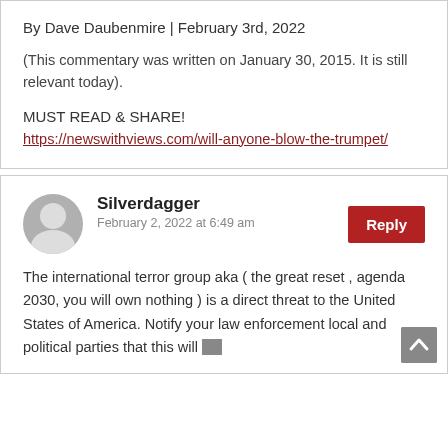By Dave Daubenmire | February 3rd, 2022
(This commentary was written on January 30, 2015. It is still relevant today).
MUST READ & SHARE!
https://newswithviews.com/will-anyone-blow-the-trumpet/
Silverdagger
February 2, 2022 at 6:49 am
The international terror group aka ( the great reset , agenda 2030, you will own nothing ) is a direct threat to the United States of America. Notify your law enforcement local and political parties that this will not stop…